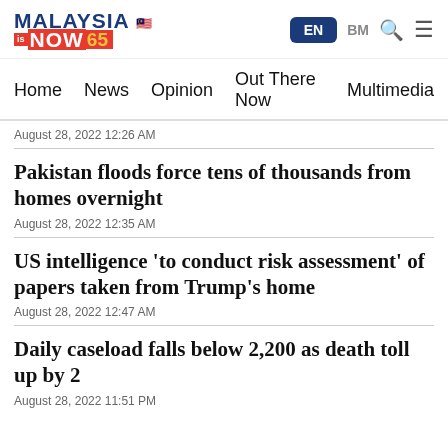[Figure (logo): MalaysiaNow logo with flag emoji, red banner with 'is NOW 65' text]
EN  BM  [search] [menu]
Home  News  Opinion  Out There Now  Multimedia
August 28, 2022 12:26 AM
Pakistan floods force tens of thousands from homes overnight
August 28, 2022 12:35 AM
US intelligence 'to conduct risk assessment' of papers taken from Trump's home
August 28, 2022 12:47 AM
Daily caseload falls below 2,200 as death toll up by 2
August 28, 2022 11:51 PM